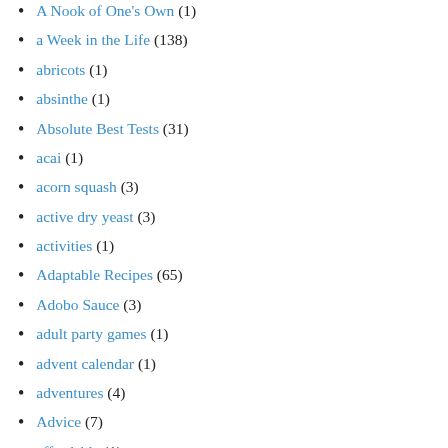A Nook of One's Own (1)
a Week in the Life (138)
abricots (1)
absinthe (1)
Absolute Best Tests (31)
acai (1)
acorn squash (3)
active dry yeast (3)
activities (1)
Adaptable Recipes (65)
Adobo Sauce (3)
adult party games (1)
advent calendar (1)
adventures (4)
Advice (7)
affordable (1)
Africa (1)